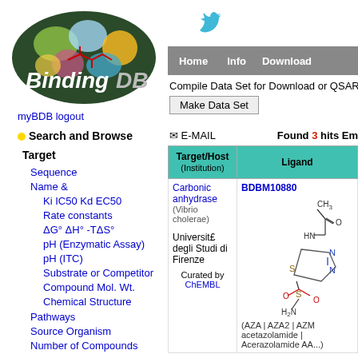[Figure (logo): BindingDB logo — oval with colorful molecular graphics and the text BindingDB]
myBDB logout
Search and Browse
Target
Sequence
Name &
Ki IC50 Kd EC50
Rate constants
ΔG° ΔH° -TΔS°
pH (Enzymatic Assay)
pH (ITC)
Substrate or Competitor
Compound Mol. Wt.
Chemical Structure
Pathways
Source Organism
Number of Compounds
[Figure (logo): Twitter bird icon in teal/cyan]
Home  Info  Download
Compile Data Set for Download or QSAR
Make Data Set
E-MAIL   Found 3 hits Em
| Target/Host (Institution) | Ligand |
| --- | --- |
| Carbonic anhydrase
(Vibrio cholerae)

Universit£ degli Studi di Firenze

Curated by ChEMBL | BDBM10880
[chemical structure image]
(AZA | AZA2 | AZM acetazolamide | Acerazolamide AA...) |